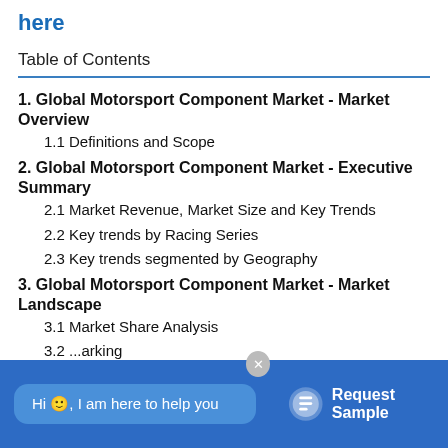here
Table of Contents
1. Global Motorsport Component Market - Market Overview
1.1 Definitions and Scope
2. Global Motorsport Component Market - Executive Summary
2.1 Market Revenue, Market Size and Key Trends
2.2 Key trends by Racing Series
2.3 Key trends segmented by Geography
3. Global Motorsport Component Market - Market Landscape
3.1 Market Share Analysis
3.2 ...arking